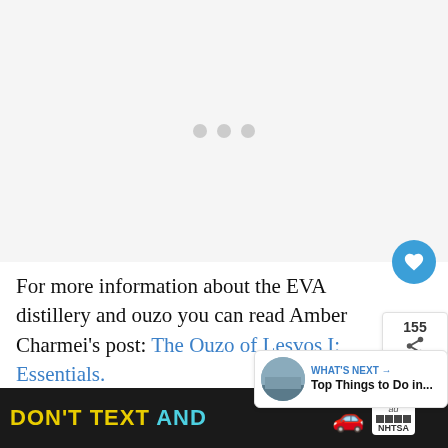[Figure (other): Loading placeholder with three grey dots on white/light grey background]
For more information about the EVA distillery and ouzo you can read Amber Charmei’s post: The Ouzo of Lesvos I: Essentials.
Special thanks to Eleni, the chemist of EVA d...
[Figure (other): Advertisement banner: DON'T TEXT AND [car emoji] ad NHTSA with close button]